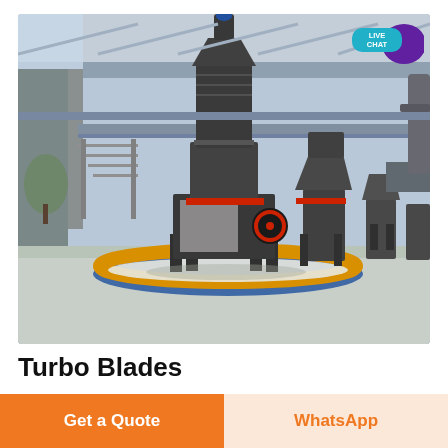[Figure (photo): Industrial grinding mills in a large factory/warehouse setting, showing large vertical roller mills with cylindrical bodies, red banding, and support frames on circular bases with yellow safety markings. Multiple mills visible in the background.]
Turbo Blades
GranQuartz has the largest selection of Turbo
Get a Quote
WhatsApp